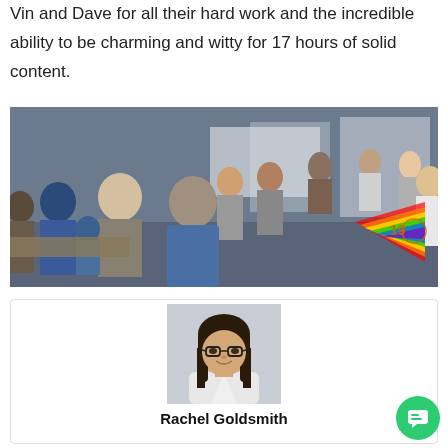Vin and Dave for all their hard work and the incredible ability to be charming and witty for 17 hours of solid content.
[Figure (photo): A conference or networking event photo showing a large group of people gathered indoors, socializing and talking at tables and standing areas. A rainbow-colored triangular graphic with the number 19 is visible in the lower right area of the photo.]
[Figure (photo): A profile/headshot photo of Rachel Goldsmith, a young woman with long dark hair, wearing glasses and a light-colored top, smiling.]
Rachel Goldsmith